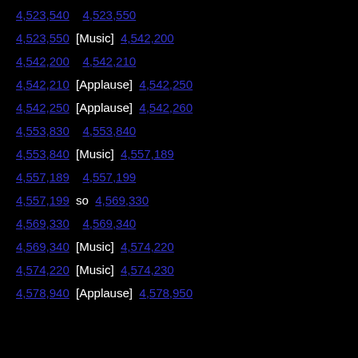4,523,540    4,523,550
4,523,550  [Music]  4,542,200
4,542,200    4,542,210
4,542,210  [Applause]  4,542,250
4,542,250  [Applause]  4,542,260
4,553,830    4,553,840
4,553,840  [Music]  4,557,189
4,557,189    4,557,199
4,557,199  so  4,569,330
4,569,330    4,569,340
4,569,340  [Music]  4,574,220
4,574,220  [Music]  4,574,230
4,578,940  [Applause]  4,578,950